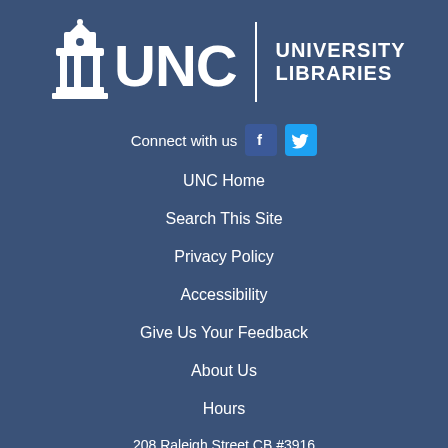[Figure (logo): UNC University Libraries logo — white UNC text with bell tower icon and vertical divider, with UNIVERSITY LIBRARIES text to the right]
Connect with us [Facebook icon] [Twitter icon]
UNC Home
Search This Site
Privacy Policy
Accessibility
Give Us Your Feedback
About Us
Hours
208 Raleigh Street CB #3916
Chapel Hill, NC 27515-8890
919-962-1053